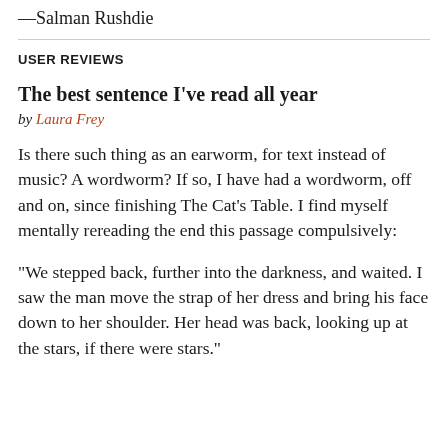—Salman Rushdie
USER REVIEWS
The best sentence I've read all year
by Laura Frey
Is there such thing as an earworm, for text instead of music? A wordworm? If so, I have had a wordworm, off and on, since finishing The Cat's Table. I find myself mentally rereading the end this passage compulsively:
"We stepped back, further into the darkness, and waited. I saw the man move the strap of her dress and bring his face down to her shoulder. Her head was back, looking up at the stars, if there were stars."